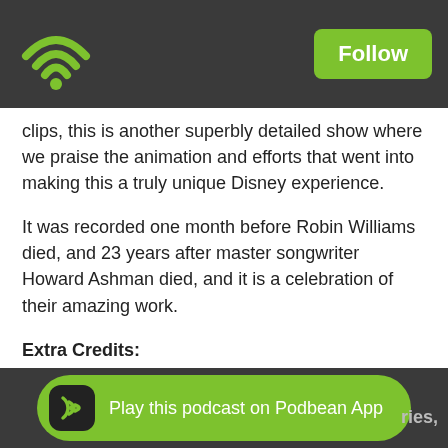[Figure (logo): Green WiFi icon on dark grey bar, with Follow button]
clips, this is another superbly detailed show where we praise the animation and efforts that went into making this a truly unique Disney experience.
It was recorded one month before Robin Williams died, and 23 years after master songwriter Howard Ashman died, and it is a celebration of their amazing work.
Extra Credits: https://www.youtube.com/user/ExtraCreditz
Cane and Rinse: http://caneandrinse.com/
Support our shows on Patreon: https://www.patreon.com/alexandershaw
Play this podcast on Podbean App